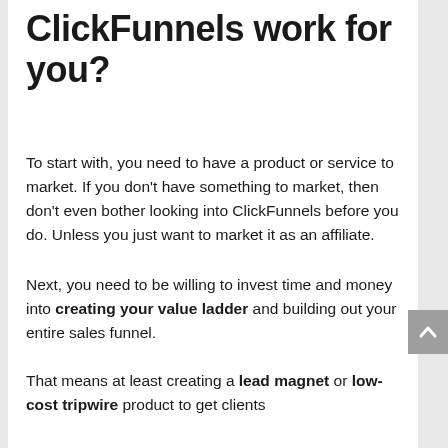ClickFunnels work for you?
To start with, you need to have a product or service to market. If you don't have something to market, then don't even bother looking into ClickFunnels before you do. Unless you just want to market it as an affiliate.
Next, you need to be willing to invest time and money into creating your value ladder and building out your entire sales funnel.
That means at least creating a lead magnet or low-cost tripwire product to get clients